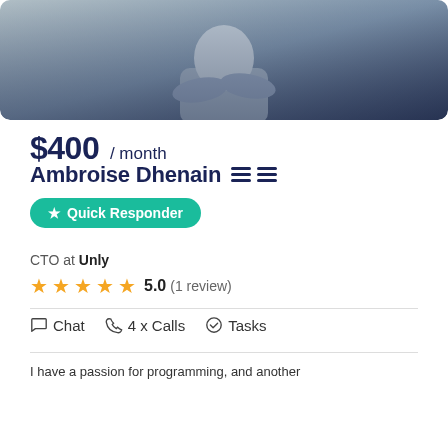[Figure (photo): Profile photo of Ambroise Dhenain, person with arms crossed, gradient blue-grey background]
$400 / month
Ambroise Dhenain
★ Quick Responder
CTO at Unly
★★★★★ 5.0 (1 review)
Chat  4 x Calls  Tasks
I have a passion for programming, and another